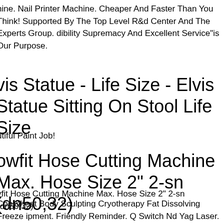hine. Nail Printer Machine. Cheaper And Faster Than You Think! Supported By The Top Level R&d Center And The Experts Group. dibility Supremacy And Excellent Service"is Our Purpose.
vis Statue - Life Size - Elvis Statue Sitting On Stool Life Size
utiful Paint Job!
owfit Hose Cutting Machine Max. Hose Size 2" 2-sn (dn50,32)
vfit Hose Cutting Machine Max. Hose Size 2" 2-sn (dn50,32).
Cool&heat Body Sculpting Cryotherapy Fat Dissolving Freeze ipment. Friendly Reminder. Q Switch Nd Yag Laser. Body Analy. aper And Faster Than You Think! Supported By The Top Level R ter And The Experts Group. Cryo Therapy Machine.